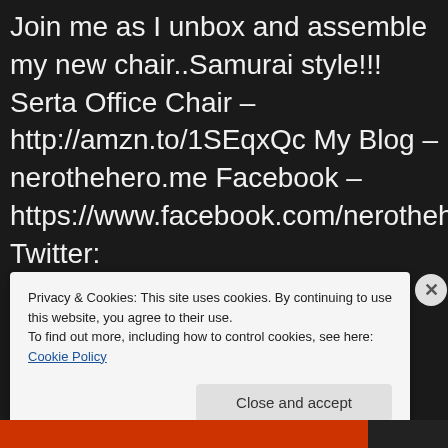Join me as I unbox and assemble my new chair..Samurai style!!! Serta Office Chair – http://amzn.to/1SEqxQc My Blog – nerothehero.me Facebook – https://www.facebook.com/nerotheheroblog Twitter: https://twitter.com/N3r0TheH3r0 Tumblr – http://n3r0theh3r0.tumblr.com/ GooglePlus – https://goo.gl/5PrUyD Music Credit: The Music for this video was
Privacy & Cookies: This site uses cookies. By continuing to use this website, you agree to their use.
To find out more, including how to control cookies, see here: Cookie Policy
Close and accept